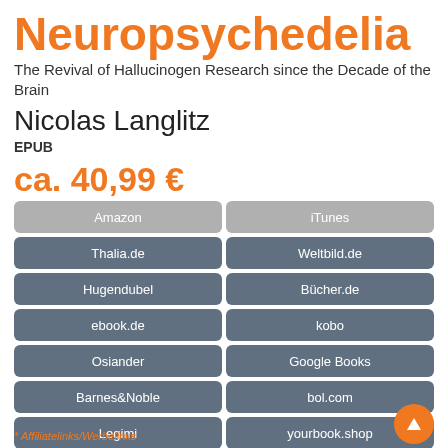Neuropsychedelia
The Revival of Hallucinogen Research since the Decade of the Brain
Nicolas Langlitz
EPUB
ca. 40,99 €
Amazon
iTunes
Thalia.de
Weltbild.de
Hugendubel
Bücher.de
ebook.de
kobo
Osiander
Google Books
Barnes&Noble
bol.com
Legimi
yourbook.shop
* Affiliatelinks/Werbelinks